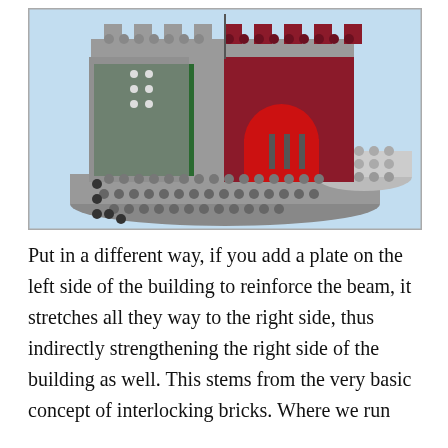[Figure (illustration): A LEGO castle building model rendered in a 3D CAD-style illustration. The model shows gray brick walls with battlements, a dark red arched door in the center, green interior elements visible through the left side opening, and a circular stud plate on the right side. The background is light blue.]
Put in a different way, if you add a plate on the left side of the building to reinforce the beam, it stretches all they way to the right side, thus indirectly strengthening the right side of the building as well. This stems from the very basic concept of interlocking bricks. Where we run